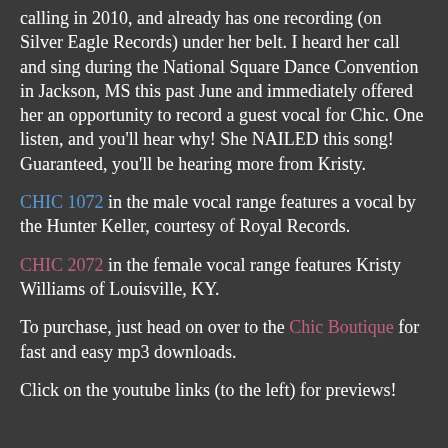calling in 2010, and already has one recording (on Silver Eagle Records) under her belt. I heard her call and sing during the National Square Dance Convention in Jackson, MS this past June and immediately offered her an opportunity to record a guest vocal for Chic. One listen, and you'll hear why! She NAILED this song! Guaranteed, you'll be hearing more from Kristy.
CHIC 1072 in the male vocal range features a vocal by the Hunter Keller, courtesy of Royal Records.
CHIC 2072 in the female vocal range features Kristy Williams of Louisville, KY.
To purchase, just head on over to the Chic Boutique for fast and easy mp3 downloads.
Click on the youtube links (to the left) for previews!